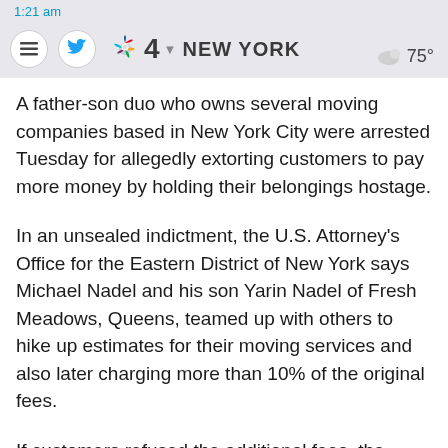1:21 am | NBC 4 New York | 75°
A father-son duo who owns several moving companies based in New York City were arrested Tuesday for allegedly extorting customers to pay more money by holding their belongings hostage.
In an unsealed indictment, the U.S. Attorney's Office for the Eastern District of New York says Michael Nadel and his son Yarin Nadel of Fresh Meadows, Queens, teamed up with others to hike up estimates for their moving services and also later charging more than 10% of the original fees.
If customers refused the additional fees, the movers would threaten to sell and auction off their belongings.